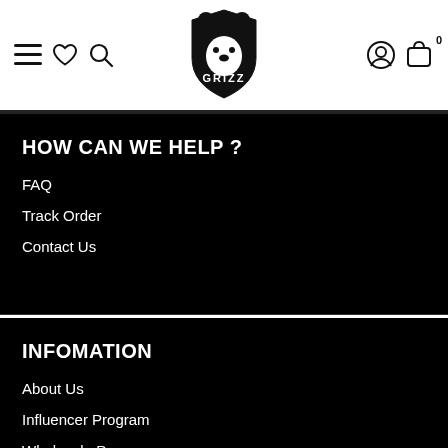[Figure (logo): GRIZZ bear logo in black and white]
HOW CAN WE HELP ?
FAQ
Track Order
Contact Us
INFOMATION
About Us
Influencer Program
Wholesale Program
Privacy Policy